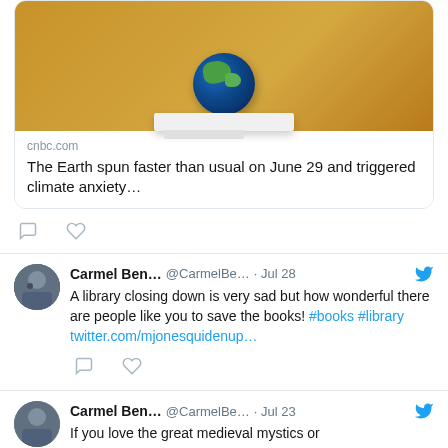[Figure (screenshot): Partial tweet showing a link card with an image of a globe on a shelf against a golden background, linking to cnbc.com article: 'The Earth spun faster than usual on June 29 and triggered climate anxiety...']
cnbc.com
The Earth spun faster than usual on June 29 and triggered climate anxiety…
Carmel Ben… @CarmelBe… · Jul 28
A library closing down is very sad but how wonderful there are people like you to save the books! #books #library twitter.com/mjonesquidenup…
Carmel Ben… @CarmelBe… · Jul 23
If you love the great medieval mystics or